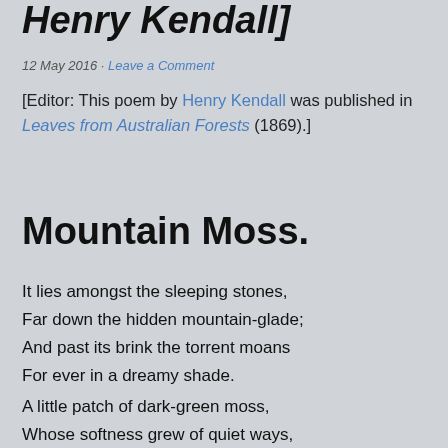Henry Kendall]
12 May 2016 · Leave a Comment
[Editor: This poem by Henry Kendall was published in Leaves from Australian Forests (1869).]
Mountain Moss.
It lies amongst the sleeping stones,
Far down the hidden mountain-glade;
And past its brink the torrent moans
For ever in a dreamy shade.
A little patch of dark-green moss,
Whose softness grew of quiet ways,
(With all its deep, delicious floss,)